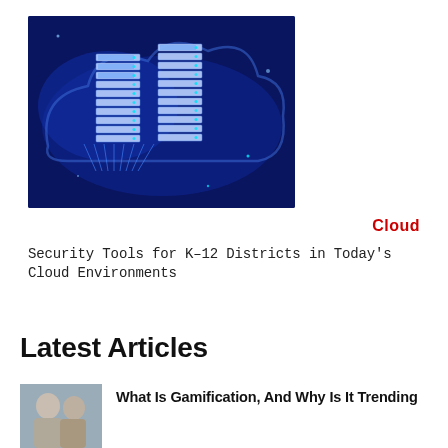[Figure (illustration): Blue-toned illustration of cloud computing servers — stacked server racks arranged in a V-shape on a dark blue cloud background with circuit board elements and glowing teal accents.]
Cloud
Security Tools for K–12 Districts in Today's Cloud Environments
Latest Articles
[Figure (photo): Thumbnail photo of two people (faces visible), gray-toned.]
What Is Gamification, And Why Is It Trending